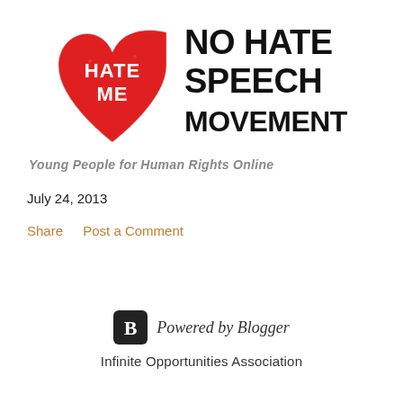[Figure (logo): No Hate Speech Movement logo: red heart with 'HATE ME' text in white, next to bold black text 'NO HATE SPEECH MOVEMENT', with tagline 'Young People for Human Rights Online']
July 24, 2013
Share    Post a Comment
[Figure (logo): Powered by Blogger logo: square icon with B and text 'Powered by Blogger']
Infinite Opportunities Association